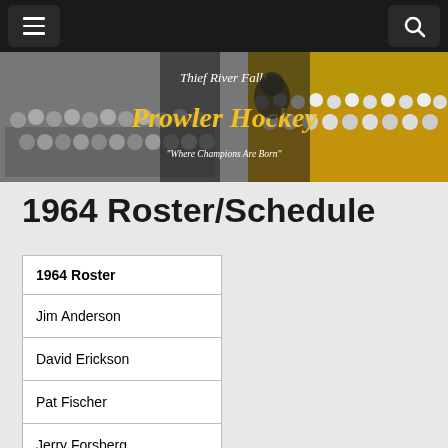Thief River Falls Prowler Hockey – Where Champions Are Born
[Figure (photo): Thief River Falls Prowler Hockey banner with vintage black-and-white team photo on left, color team photo on right, and decorative gold script text 'Prowler Hockey' with tagline 'Where Champions Are Born']
1964 Roster/Schedule
| 1964 Roster |
| --- |
| Jim Anderson |
| David Erickson |
| Pat Fischer |
| Jerry Forsberg |